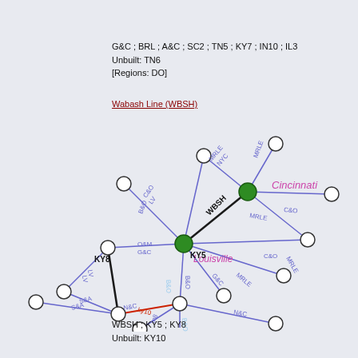G&C ; BRL ; A&C ; SC2 ; TN5 ; KY7 ; IN10 ; IL3
Unbuilt: TN6
[Regions: DO]
Wabash Line (WBSH)
[Figure (network-graph): Railroad network graph centered on Louisville and Cincinnati nodes (green filled circles). Multiple lines radiate outward to smaller white circle nodes. Line labels include WBSH, MRLE, C&O, B&O, G&C, O&M, LV, S&A, N&C, NYC. A red segment labeled ky10 connects two nodes near the bottom-left area. Node labels include KY5, KY8. City labels Cincinnati and Louisville appear in pink/magenta text.]
WBSH ; KY5 ; KY8
Unbuilt: KY10